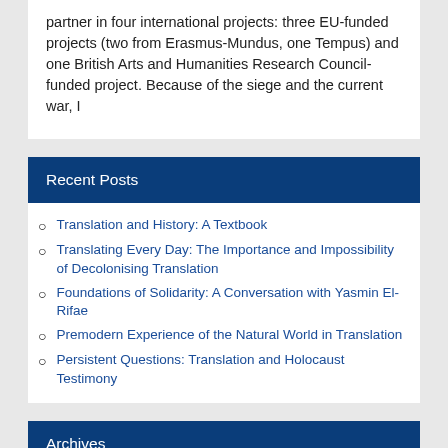partner in four international projects: three EU-funded projects (two from Erasmus-Mundus, one Tempus) and one British Arts and Humanities Research Council-funded project. Because of the siege and the current war, I
Recent Posts
Translation and History: A Textbook
Translating Every Day: The Importance and Impossibility of Decolonising Translation
Foundations of Solidarity: A Conversation with Yasmin El-Rifae
Premodern Experience of the Natural World in Translation
Persistent Questions: Translation and Holocaust Testimony
Archives